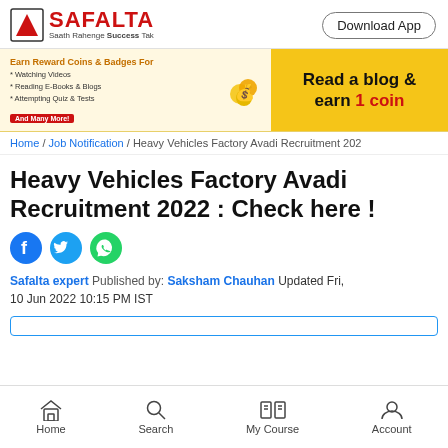[Figure (logo): Safalta logo with red triangle and text 'Saath Rahenge Success Tak']
Download App
[Figure (infographic): Banner: Earn Reward Coins & Badges For * Watching Videos * Reading E-Books & Blogs * Attempting Quiz & Tests And Many More! | Read a blog & earn 1 coin]
Home / Job Notification / Heavy Vehicles Factory Avadi Recruitment 202
Heavy Vehicles Factory Avadi Recruitment 2022 : Check here !
[Figure (other): Social share icons: Facebook, Twitter, WhatsApp]
Safalta expert  Published by:  Saksham Chauhan  Updated Fri, 10 Jun 2022 10:15 PM IST
Home  Search  My Course  Account